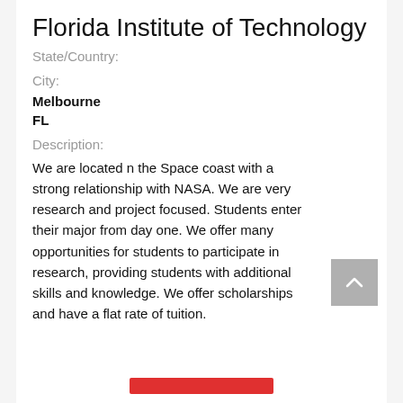Florida Institute of Technology
State/Country:
City:
Melbourne
FL
Description:
We are located n the Space coast with a strong relationship with NASA. We are very research and project focused. Students enter their major from day one. We offer many opportunities for students to participate in research, providing students with additional skills and knowledge. We offer scholarships and have a flat rate of tuition.